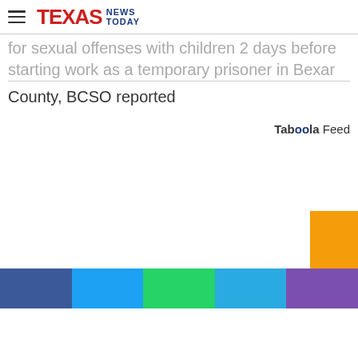Texas News Today
reported for sexual offenses with children 2 days before starting work as a temporary prisoner in Bexar County, BCSO reported
Taboola Feed
[Figure (other): Orange button block in lower right corner]
Social media share bar with blue, sky blue, green, light blue, and purple segments